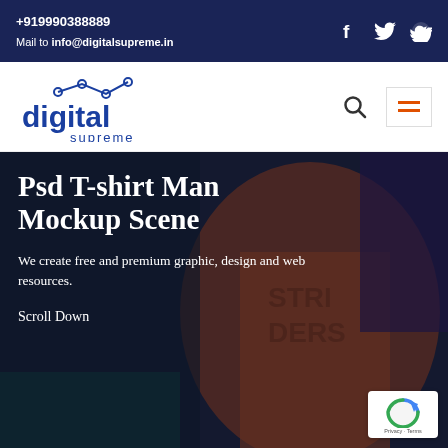+919990388889
Mail to info@digitalsupreme.in
[Figure (logo): Digital Supreme logo with line-chart icon above the word 'digital' in blue bold and 'supreme' in smaller text below]
Psd T-shirt Man Mockup Scene
We create free and premium graphic, design and web resources.
Scroll Down